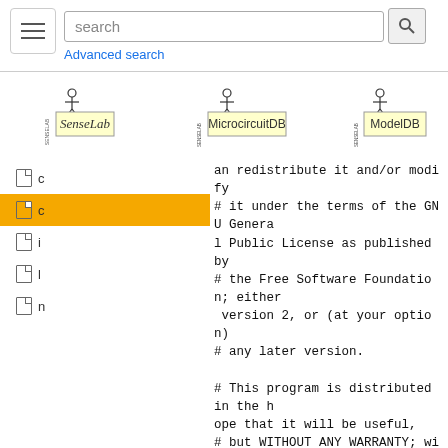[Figure (screenshot): Top navigation bar with hamburger menu, search box with search button, and Advanced search link]
[Figure (logo): Three logos: SenseLab, MicrocircuitDB, ModelDB from the SENSELAB project]
[Figure (screenshot): Left sidebar with file/document navigation items, one highlighted in orange/yellow]
an redistribute it and/or modify
# it under the terms of the GNU General Public License as published by
# the Free Software Foundation; either version 2, or (at your option)
# any later version.

# This program is distributed in the hope that it will be useful,
# but WITHOUT ANY WARRANTY; without even the implied warranty of
# MERCHANTABILITY or FITNESS FOR A PARTICULAR PURPOSE.  See the
# GNU General Public License for more details.

# You should have received a copy of the GNU General Public License
# along with this program.  If not, see <http://www.gnu.org/licenses/>.